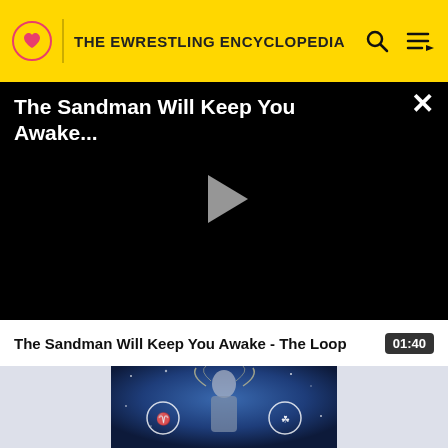THE EWRESTLING ENCYCLOPEDIA
[Figure (screenshot): Black video player showing title 'The Sandman Will Keep You Awake...' with a grey play button triangle in the center and a close X button in the top right corner]
The Sandman Will Keep You Awake - The Loop
01:40
[Figure (photo): A blue-toned image of a person with long blonde hair and gear/circular icons around them on a starry background]